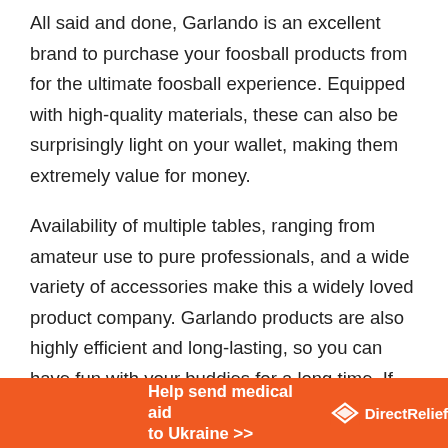All said and done, Garlando is an excellent brand to purchase your foosball products from for the ultimate foosball experience. Equipped with high-quality materials, these can also be surprisingly light on your wallet, making them extremely value for money.
Availability of multiple tables, ranging from amateur use to pure professionals, and a wide variety of accessories make this a widely loved product company. Garlando products are also highly efficient and long-lasting, so you can have fun with your buddies for a long time. If you're out in the market, looking for high-quality, reliable foosball tables, check out the Garlando line to find a table that
[Figure (infographic): Orange advertisement banner reading 'Help send medical aid to Ukraine >>' with DirectRelief logo on the right]